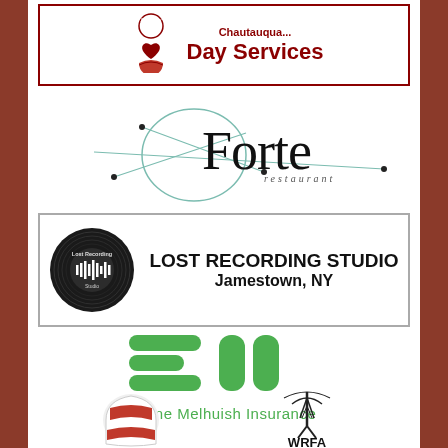[Figure (logo): Adult Day Services logo with red hand/heart icon and red text 'Day Services' in a bordered box]
[Figure (logo): Forte Restaurant logo with teal circle and lines design, italic serif 'Forte' text and 'restaurant' subtitle]
[Figure (logo): Lost Recording Studio logo — circular vinyl record icon with audio waveform, text 'LOST RECORDING STUDIO Jamestown, NY' in bordered box]
[Figure (logo): Slone Melhuish Insurance logo — green stacked bar shapes forming 'S' and 'M', text 'Slone Melhuish Insurance' below]
[Figure (logo): Partially visible logos at bottom: striped golf driver head cover on left, WRFA radio tower logo on right]